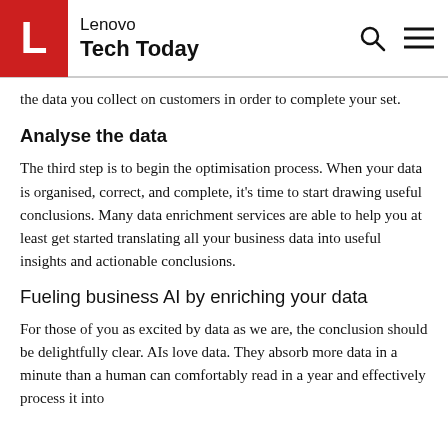Lenovo Tech Today
the data you collect on customers in order to complete your set.
Analyse the data
The third step is to begin the optimisation process. When your data is organised, correct, and complete, it's time to start drawing useful conclusions. Many data enrichment services are able to help you at least get started translating all your business data into useful insights and actionable conclusions.
Fueling business AI by enriching your data
For those of you as excited by data as we are, the conclusion should be delightfully clear. AIs love data. They absorb more data in a minute than a human can comfortably read in a year and effectively process it into